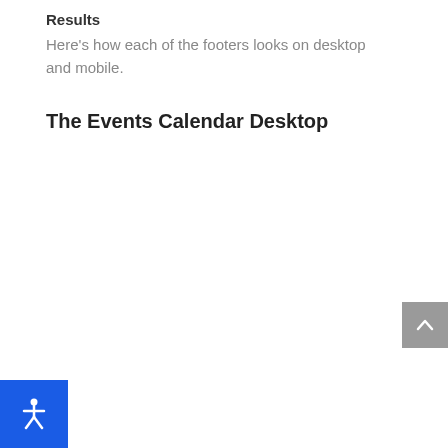Results
Here’s how each of the footers looks on desktop and mobile.
The Events Calendar Desktop
[Figure (other): Gray back-to-top button with upward chevron arrow, positioned at right edge]
[Figure (other): Blue accessibility widget button with person/wheelchair icon, positioned at bottom left]